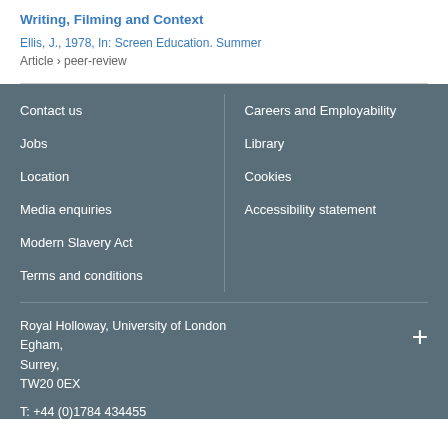Writing, Filming and Context
Ellis, J., 1978, In: Screen Education. Summer
Article › peer-review
Contact us
Jobs
Location
Media enquiries
Modern Slavery Act
Terms and conditions
Careers and Employability
Library
Cookies
Accessibility statement
Royal Holloway, University of London
Egham,
Surrey,
TW20 0EX
T: +44 (0)1784 434455